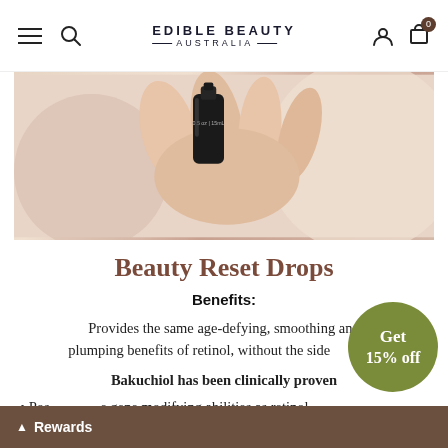EDIBLE BEAUTY AUSTRALIA
[Figure (photo): Close-up of a hand holding a small dark glass bottle labeled 0.5 oz / 15mL against a light beige background near a person's face.]
Beauty Reset Drops
Benefits:
Provides the same age-defying, smoothing and plumping benefits of retinol, without the side effects
Bakuchiol has been clinically proven
Possesses the same gene modifying abilities as retinol